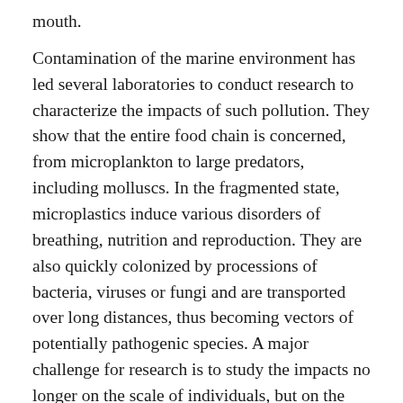mouth.
Contamination of the marine environment has led several laboratories to conduct research to characterize the impacts of such pollution. They show that the entire food chain is concerned, from microplankton to large predators, including molluscs. In the fragmented state, microplastics induce various disorders of breathing, nutrition and reproduction. They are also quickly colonized by processions of bacteria, viruses or fungi and are transported over long distances, thus becoming vectors of potentially pathogenic species. A major challenge for research is to study the impacts no longer on the scale of individuals, but on the scale of populations or even ecosystems.
Where does plastic waste in the oceans come from?